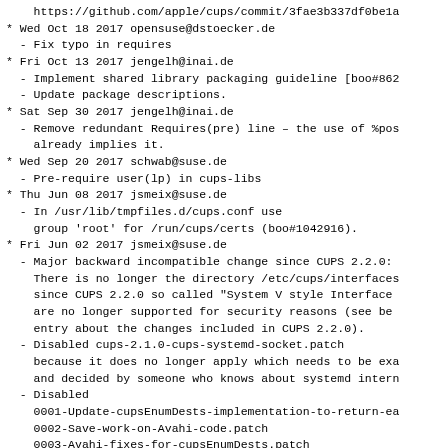https://github.com/apple/cups/commit/3fae3b337df0be1a
* Wed Oct 18 2017 opensuse@dstoecker.de
  - Fix typo in requires
* Fri Oct 13 2017 jengelh@inai.de
  - Implement shared library packaging guideline [boo#862
  - Update package descriptions.
* Sat Sep 30 2017 jengelh@inai.de
  - Remove redundant Requires(pre) line - the use of %pos
    already implies it.
* Wed Sep 20 2017 schwab@suse.de
  - Pre-require user(lp) in cups-libs
* Thu Jun 08 2017 jsmeix@suse.de
  - In /usr/lib/tmpfiles.d/cups.conf use
    group 'root' for /run/cups/certs (boo#1042916).
* Fri Jun 02 2017 jsmeix@suse.de
  - Major backward incompatible change since CUPS 2.2.0:
    There is no longer the directory /etc/cups/interfaces
    since CUPS 2.2.0 so called "System V style Interface
    are no longer supported for security reasons (see be
    entry about the changes included in CUPS 2.2.0).
  - Disabled cups-2.1.0-cups-systemd-socket.patch
    because it does no longer apply which needs to be exa
    and decided by someone who knows about systemd intern
  - Disabled
    0001-Update-cupsEnumDests-implementation-to-return-ea
    0002-Save-work-on-Avahi-code.patch
    0003-Avahi-fixes-for-cupsEnumDests.patch
    because they do no longer apply which needs to be exa
    and decided by someone who knows about Avahi internai
  - Version upgrade to 2.2.3:
  - CUPS 2.2.3 is one of the...